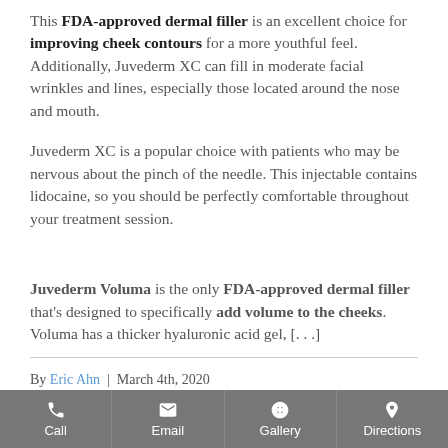This FDA-approved dermal filler is an excellent choice for improving cheek contours for a more youthful feel. Additionally, Juvederm XC can fill in moderate facial wrinkles and lines, especially those located around the nose and mouth.
Juvederm XC is a popular choice with patients who may be nervous about the pinch of the needle. This injectable contains lidocaine, so you should be perfectly comfortable throughout your treatment session.
Juvederm Voluma is the only FDA-approved dermal filler that's designed to specifically add volume to the cheeks. Voluma has a thicker hyaluronic acid gel, [...]
By Eric Ahn | March 4th, 2020
Call | Email | Gallery | Directions